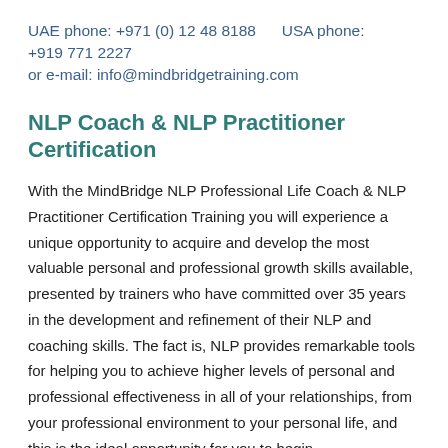UAE phone: +971 (0) 12 48 8188    USA phone: +919 771 2227
or e-mail: info@mindbridgetraining.com
NLP Coach & NLP Practitioner Certification
With the MindBridge NLP Professional Life Coach & NLP Practitioner Certification Training you will experience a unique opportunity to acquire and develop the most valuable personal and professional growth skills available, presented by trainers who have committed over 35 years in the development and refinement of their NLP and coaching skills. The fact is, NLP provides remarkable tools for helping you to achieve higher levels of personal and professional effectiveness in all of your relationships, from your professional environment to your personal life, and this is the ideal opportunity for you to begin.